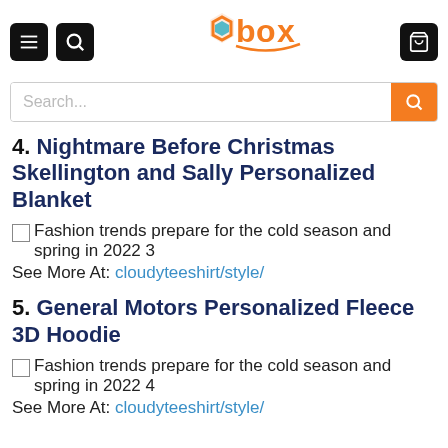box (logo)
Search...
4. Nightmare Before Christmas Skellington and Sally Personalized Blanket
[Figure (photo): Broken image placeholder with alt text: Fashion trends prepare for the cold season and spring in 2022 3]
See More At: cloudyteeshirt/style/
5. General Motors Personalized Fleece 3D Hoodie
[Figure (photo): Broken image placeholder with alt text: Fashion trends prepare for the cold season and spring in 2022 4]
See More At: cloudyteeshirt/style/